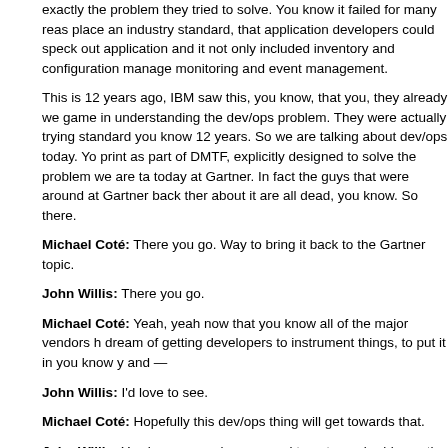exactly the problem they tried to solve. You know it failed for many reasons, place an industry standard, that application developers could speck out application and it not only included inventory and configuration management monitoring and event management.
This is 12 years ago, IBM saw this, you know, that you, they already we game in understanding the dev/ops problem. They were actually trying standard you know 12 years. So we are talking about dev/ops today. Yo print as part of DMTF, explicitly designed to solve the problem we are ta today at Gartner. In fact the guys that were around at Gartner back ther about it are all dead, you know. So there.
Michael Coté: There you go. Way to bring it back to the Gartner topic.
John Willis: There you go.
Michael Coté: Yeah, yeah now that you know all of the major vendors h dream of getting developers to instrument things, to put it in you know y and —
John Willis: I'd love to see.
Michael Coté: Hopefully this dev/ops thing will get towards that.
John Willis: You know someday we need to get your buddy on, the gu that works with VM, VMware now.